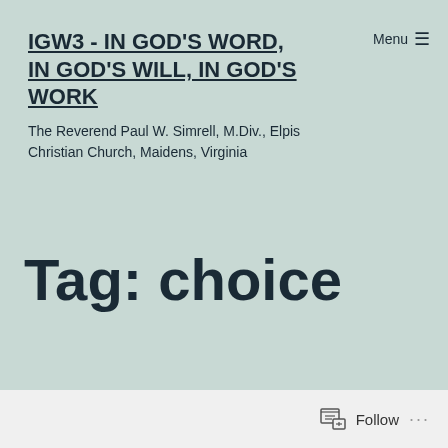Menu ≡
IGW3 - IN GOD'S WORD, IN GOD'S WILL, IN GOD'S WORK
The Reverend Paul W. Simrell, M.Div., Elpis Christian Church, Maidens, Virginia
Tag: choice
Follow ...